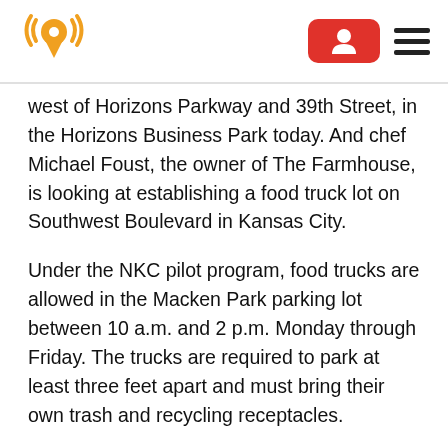west of Horizons Parkway and 39th Street, in the Horizons Business Park today. And chef Michael Foust, the owner of The Farmhouse, is looking at establishing a food truck lot on Southwest Boulevard in Kansas City.
Under the NKC pilot program, food trucks are allowed in the Macken Park parking lot between 10 a.m. and 2 p.m. Monday through Friday. The trucks are required to park at least three feet apart and must bring their own trash and recycling receptacles.